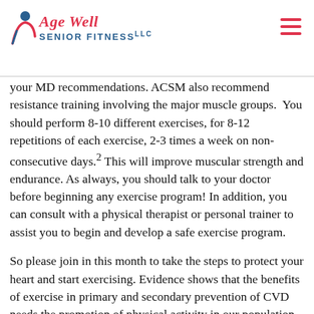Age Well Senior Fitness LLC
your MD recommendations. ACSM also recommend resistance training involving the major muscle groups. You should perform 8-10 different exercises, for 8-12 repetitions of each exercise, 2-3 times a week on non-consecutive days.² This will improve muscular strength and endurance. As always, you should talk to your doctor before beginning any exercise program! In addition, you can consult with a physical therapist or personal trainer to assist you to begin and develop a safe exercise program.
So please join in this month to take the steps to protect your heart and start exercising. Evidence shows that the benefits of exercise in primary and secondary prevention of CVD needs the promotion of physical activity in our population. It is well known that a sedentary lifestyle is one of the major risk factors for CVD so take the steps literally to reduce your risk of heart disease.